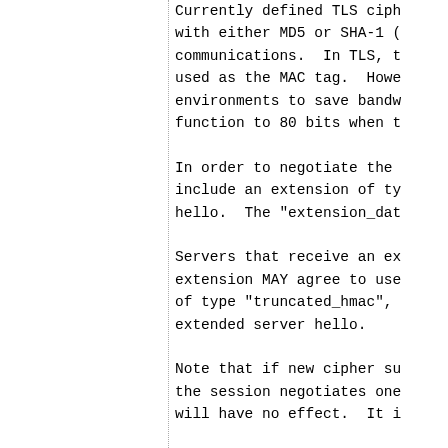Currently defined TLS cipher suites use either HMAC-MD5 or HMAC-SHA1. However, both of these hash functions produce output longer than is necessary for typical communications. In TLS, the entire output of the hash function is used as the MAC tag. However it is possible in constrained environments to save bandwidth by truncating the output of the hash function to 80 bits when the MAC is computed.
In order to negotiate the use of 80-bit truncated HMAC, the client MAY include an extension of type "truncated_hmac" in the (extended) client hello. The "extension_data" field of this extension SHALL be empty.
Servers that receive an extended hello containing a "truncated_hmac" extension MAY agree to use a truncated HMAC by including an extension of type "truncated_hmac", with empty "extension_data", in the extended server hello.
Note that if new cipher suites are added that do not use HMAC, and the session negotiates one of these cipher suites, this extension will have no effect. It is strongly recommended that any new cipher suites using other MACs consider the MAC size an integral part of the cipher suite definition, taking into account both security and bandwidth considerations.
suites using other MACs co